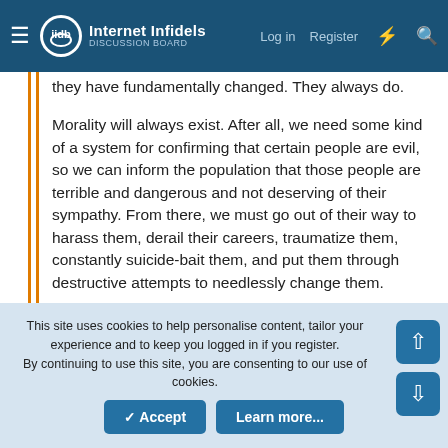Internet Infidels — Log in  Register
they have fundamentally changed. They always do.

Morality will always exist. After all, we need some kind of a system for confirming that certain people are evil, so we can inform the population that those people are terrible and dangerous and not deserving of their sympathy. From there, we must go out of their way to harass them, derail their careers, traumatize them, constantly suicide-bait them, and put them through destructive attempts to needlessly change them.

Without morality, we would not recognize that all of this is necessary. Without morality, we would go around treating each other respectfully, trying to make each other's lives better, and actually liking each other's company. It would be anarchy.

Meanwhile, I prefer to simply live ethically. I find it to be substantially more relaxing.
This site uses cookies to help personalise content, tailor your experience and to keep you logged in if you register.
By continuing to use this site, you are consenting to our use of cookies.